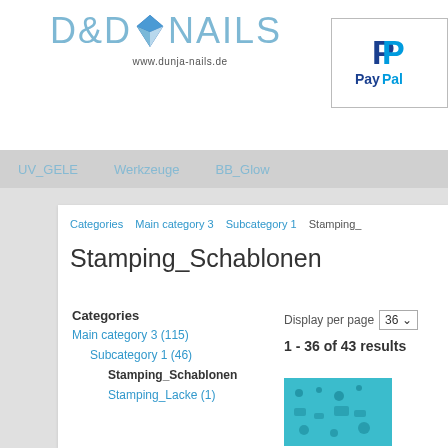[Figure (logo): D&D Nails logo with diamond icon and URL www.dunja-nails.de]
[Figure (logo): PayPal logo in blue]
UV_GELE   Werkzeuge   BB_Glow
Categories > Main category 3 > Subcategory 1 > Stamping_
Stamping_Schablonen
Categories
Main category 3 (115)
Subcategory 1 (46)
Stamping_Schablonen
Stamping_Lacke (1)
Display per page 36
1 - 36 of 43 results
[Figure (photo): Product thumbnail showing teal/blue stamping schablonen plate]